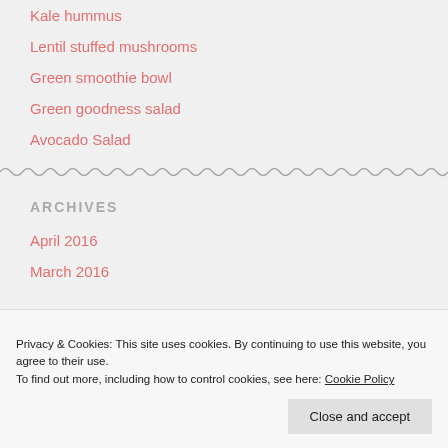Kale hummus
Lentil stuffed mushrooms
Green smoothie bowl
Green goodness salad
Avocado Salad
[Figure (other): Wavy zigzag divider line]
ARCHIVES
April 2016
March 2016
Privacy & Cookies: This site uses cookies. By continuing to use this website, you agree to their use.
To find out more, including how to control cookies, see here: Cookie Policy
Close and accept